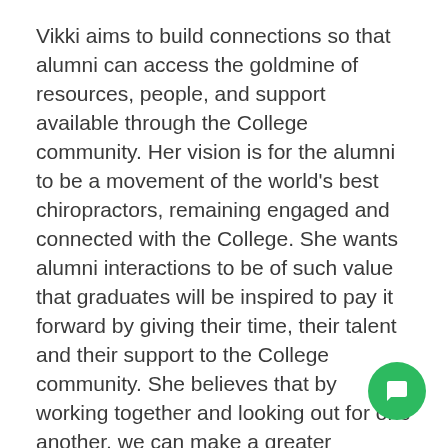Vikki aims to build connections so that alumni can access the goldmine of resources, people, and support available through the College community. Her vision is for the alumni to be a movement of the world's best chiropractors, remaining engaged and connected with the College. She wants alumni interactions to be of such value that graduates will be inspired to pay it forward by giving their time, their talent and their support to the College community. She believes that by working together and looking out for one another, we can make a greater difference for our people and communities, and contribute to the vision of a 'world of people expressing optimal potential'.
Vikki is excited to be part of the effort to create more support and add value for graduates. Her wish is for all graduates to feel like she does when she comes home to the College like she's returning